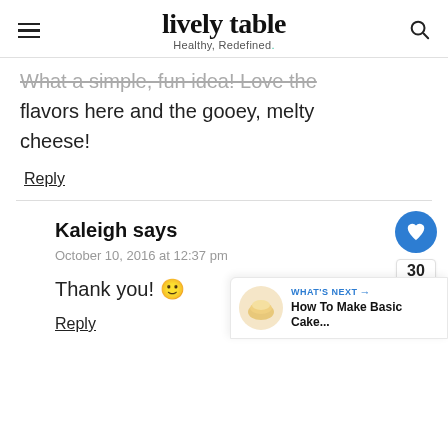lively table — Healthy, Redefined.
What a simple, fun idea! Love the flavors here and the gooey, melty cheese!
Reply
Kaleigh says
October 10, 2016 at 12:37 pm
Thank you! 🙂
Reply